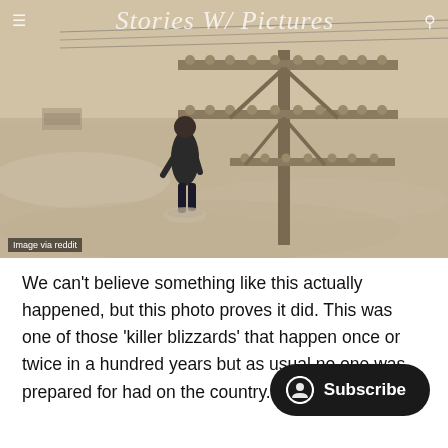[Figure (photo): Sepia-toned vintage photograph of a man standing in deep snow next to a tall telegraph or telephone pole with multiple crossbars and insulators, in a flat snowy landscape. Overlay text 'Stories W/ Pictures' and navigation icons appear over the top of the image. Caption reads 'Image via reddit'.]
We can't believe something like this actually happened, but this photo proves it did. This was one of those 'killer blizzards' that happen once or twice in a hundred years but as usual no one was prepared for had on the country.